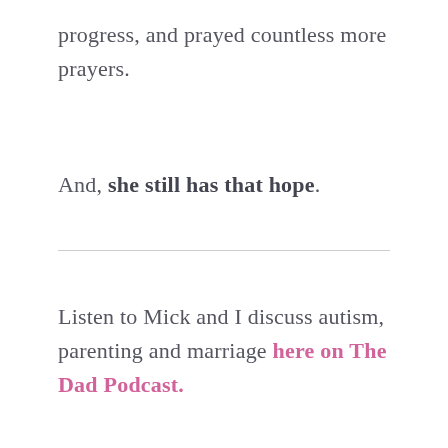progress, and prayed countless more prayers.
And, she still has that hope.
Listen to Mick and I discuss autism, parenting and marriage here on The Dad Podcast.